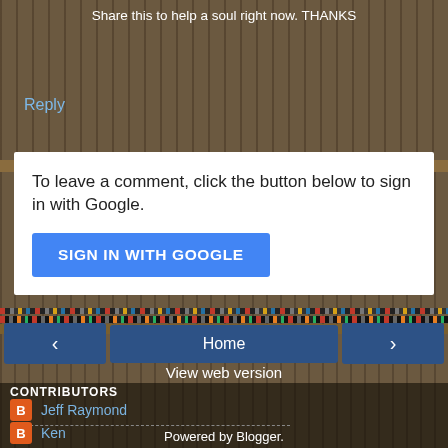Share this to help a soul right now. THANKS
Reply
To leave a comment, click the button below to sign in with Google.
SIGN IN WITH GOOGLE
Home
View web version
CONTRIBUTORS
Jeff Raymond
Ken
Powered by Blogger.